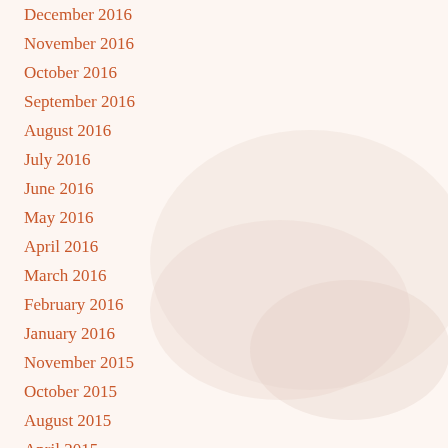December 2016
November 2016
October 2016
September 2016
August 2016
July 2016
June 2016
May 2016
April 2016
March 2016
February 2016
January 2016
November 2015
October 2015
August 2015
April 2015
March...